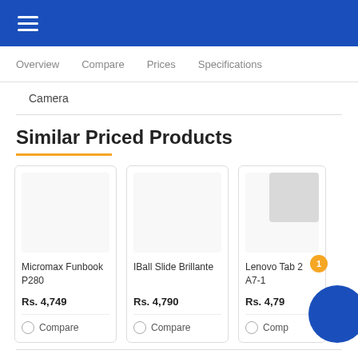≡ (hamburger menu)
Overview   Compare   Prices   Specifications
Camera
Similar Priced Products
| Product | Price | Compare |
| --- | --- | --- |
| Micromax Funbook P280 | Rs. 4,749 | Compare |
| IBall Slide Brillante | Rs. 4,790 | Compare |
| Lenovo Tab 2 A7-1 | Rs. 4,79... | Comp... |